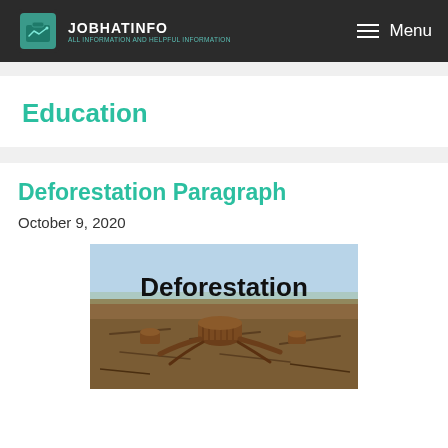JOBHATINFO — Menu
Education
Deforestation Paragraph
October 9, 2020
[Figure (photo): A deforested landscape showing tree stumps and cleared land with the text 'Deforestation' overlaid in large black font.]